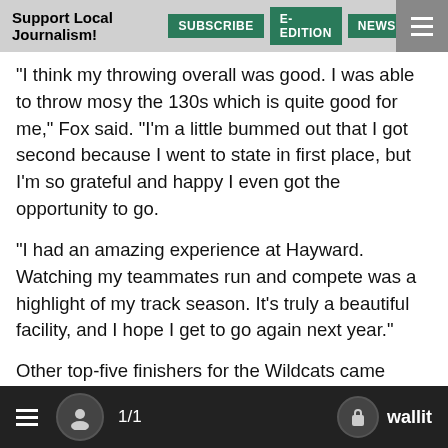Support Local Journalism! | SUBSCRIBE | E-EDITION | NEWSLET
"I think my throwing overall was good. I was able to throw most in the 130s which is quite good for me," Fox said. "I'm a little bummed out that I got second because I went to state in first place, but I'm so grateful and happy I even got the opportunity to go.
"I had an amazing experience at Hayward. Watching my teammates run and compete was a highlight of my track season. It's truly a beautiful facility, and I hope I get to go again next year."
Other top-five finishers for the Wildcats came from: sophomore Caroline De la motte, third in the long jump at 16-9.75 and fourth in the triple jump at 34-6.75.
Other top-five area finishers were: La Salle sophomore Jasmine McIntosh, fifth in the 100 with a PR of 12.81; Putnam freshman Grace Flowerday, fifth in the 300 with a PR of 10:48.18; and La Salle junior Madeline Obuchowski, third in the pole vault at 10-0.
≡  [user icon]  1/1  [lock icon]  wallit